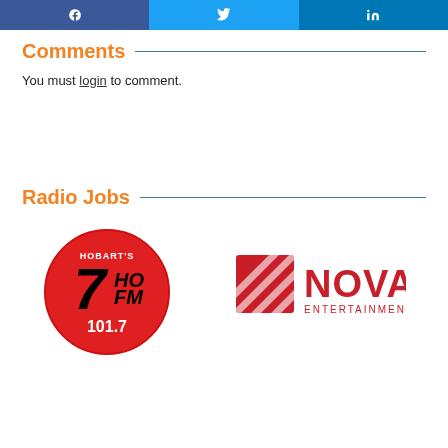[Figure (infographic): Social share bar with Facebook (blue), Twitter (light blue), and LinkedIn (dark blue) icons]
Comments
You must login to comment.
Radio Jobs
[Figure (logo): 7HoFM 101.7 Hobart's radio station circular logo in red with black and white text]
[Figure (logo): Nova Entertainment logo with red square N icon and red NOVA ENTERTAINMENT text]